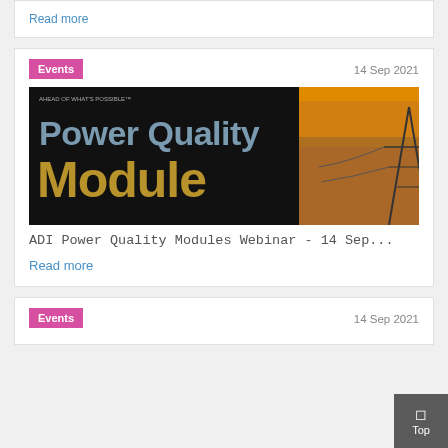Read more
Events
14 Sep 2021
[Figure (photo): Power Quality Module webinar promotional image with dark background and orange power tower silhouette]
ADI Power Quality Modules Webinar - 14 Sep...
Read more
Events
14 Sep 2021